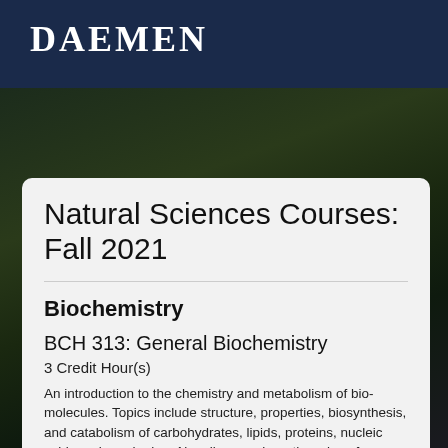DAEMEN
Natural Sciences Courses: Fall 2021
Biochemistry
BCH 313: General Biochemistry
3 Credit Hour(s)
An introduction to the chemistry and metabolism of biomolecules. Topics include structure, properties, biosynthesis, and catabolism of carbohydrates, lipids, proteins, nucleic acids and porphyrins. Also discussed are the roles of enzymes, vitamins and coenzymes in biocatalysis. Science credit may not be earned